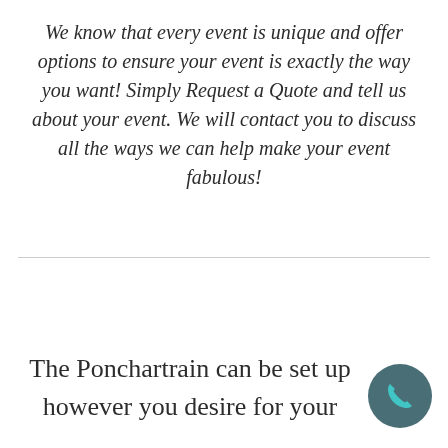We know that every event is unique and offer options to ensure your event is exactly the way you want! Simply Request a Quote and tell us about your event. We will contact you to discuss all the ways we can help make your event fabulous!
The Ponchartrain can be set up however you desire for your